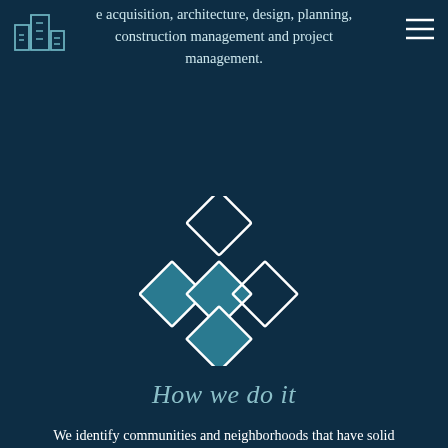e acquisition, architecture, design, planning, construction management and project management.
[Figure (logo): Building/city outline icon in teal outline style]
[Figure (logo): Hamburger menu icon (three horizontal lines) in white]
[Figure (logo): Diamond/rhombus geometric icon made of four rotated squares arranged in a diamond cluster pattern, teal and white outlines]
How we do it
We identify communities and neighborhoods that have solid fundamentals, are transit oriented with a high walkability score (or the potential to be pedestrian orientated) and we look to add to that experience.